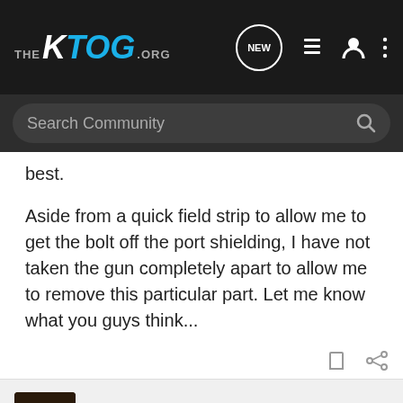THE KTOG.ORG
best.
Aside from a quick field strip to allow me to get the bolt off the port shielding, I have not taken the gun completely apart to allow me to remove this particular part. Let me know what you guys think...
gderf · Registered
Joined Feb 11, 2017 · 61 Posts
#2 · Oct 14, 2017
Pictures would be helpful.